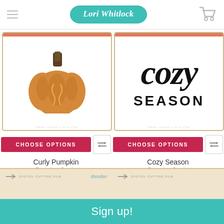Lori Whitlock
[Figure (illustration): Curly Pumpkin product image - orange pumpkin with dark green stem on white background with tan border]
[Figure (illustration): Cozy Season product image - hand lettered 'cozy SEASON' text in black on white background with tan border]
CHOOSE OPTIONS
CHOOSE OPTIONS
Curly Pumpkin
Dresden Carrie
$1.99
Cozy Season
Dresden Carrie
$1.99
[Figure (photo): Dresden digital cutting file product card thumbnail]
[Figure (photo): Dresden digital cutting file product card thumbnail]
Sign up!